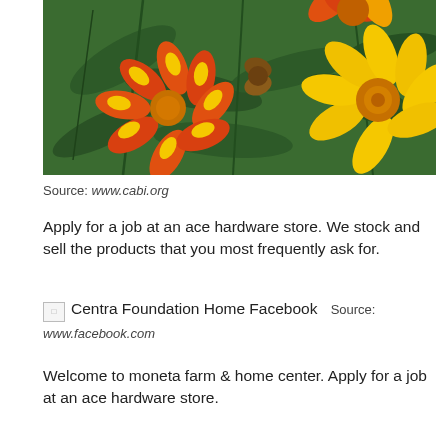[Figure (photo): Close-up photo of marigold flowers with yellow, orange, and red petals surrounded by green foliage]
Source: www.cabi.org
Apply for a job at an ace hardware store. We stock and sell the products that you most frequently ask for.
[Figure (photo): Broken/missing image placeholder labeled 'Centra Foundation Home Facebook' followed by text: Source: www.facebook.com]
Welcome to moneta farm & home center. Apply for a job at an ace hardware store.